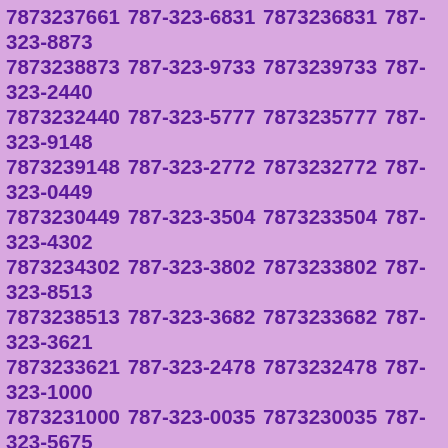7873237661 787-323-6831 7873236831 787-323-8873 7873238873 787-323-9733 7873239733 787-323-2440 7873232440 787-323-5777 7873235777 787-323-9148 7873239148 787-323-2772 7873232772 787-323-0449 7873230449 787-323-3504 7873233504 787-323-4302 7873234302 787-323-3802 7873233802 787-323-8513 7873238513 787-323-3682 7873233682 787-323-3621 7873233621 787-323-2478 7873232478 787-323-1000 7873231000 787-323-0035 7873230035 787-323-5675 7873235675 787-323-7012 7873237012 787-323-1246 7873231246 787-323-8947 7873238947 787-323-5906 7873235906 787-323-1705 7873231705 787-323-5667 7873235667 787-323-8278 7873238278 787-323-5412 7873235412 787-323-4188 7873234188 787-323-2771 7873232771 787-323-3520 7873233520 787-323-3497 7873233497 787-323-1152 7873231152 787-323-4063 7873234063 787-323-3603 7873233603 787-323-1966 7873231966 787-323-2145 7873232145 787-323-1065 7873231065 787-323-9472 7873239472 787-323-4828 7873234828 787-323-4925 7873234925 787-323-8836 7873238836 787-323-2421 7873232421 787-323-...